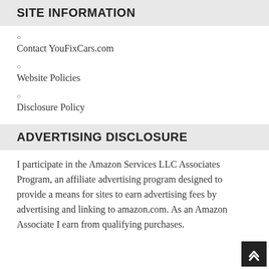SITE INFORMATION
Contact YouFixCars.com
Website Policies
Disclosure Policy
ADVERTISING DISCLOSURE
I participate in the Amazon Services LLC Associates Program, an affiliate advertising program designed to provide a means for sites to earn advertising fees by advertising and linking to amazon.com. As an Amazon Associate I earn from qualifying purchases.